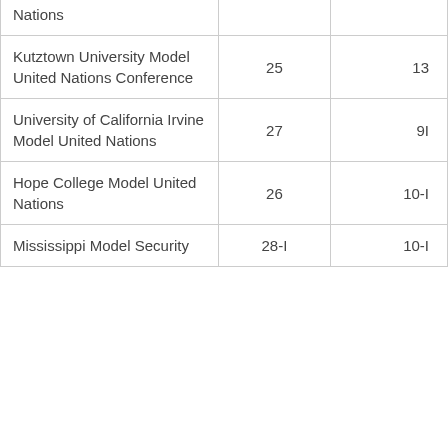| Nations |  |  |
| Kutztown University Model United Nations Conference | 25 | 13 |
| University of California Irvine Model United Nations | 27 | 9I |
| Hope College Model United Nations | 26 | 10-I |
| Mississippi Model Security | 28-I | 10-I |